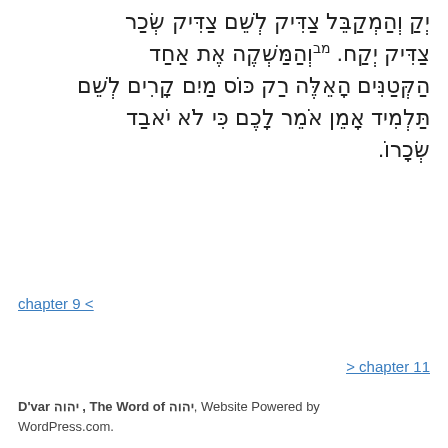יְקַ וְהַמְקַבֵּל צַדִּיק לְשֵׁם צַדִּיק שְׂכַר צַדִּיק יְקַח. מבוְהַמַּשְׁקֶה אֶת אַחַד הַקְּטַנִּים הָאֵלֶּה רַק כּוֹס מַיִם קָרִים לְשֵׁם תַּלְמִיד אָמֵן אֹמֵר לָכֶם כִּי לֹא יֹאבַד שְׂכָרוֹ.
< chapter 9
> chapter 11
D'var יהוה , The Word of יהוה, Website Powered by WordPress.com.